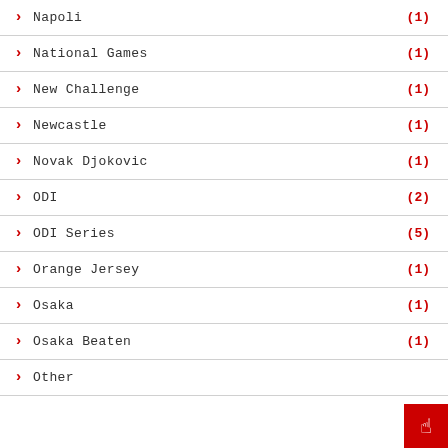Napoli (1)
National Games (1)
New Challenge (1)
Newcastle (1)
Novak Djokovic (1)
ODI (2)
ODI Series (5)
Orange Jersey (1)
Osaka (1)
Osaka Beaten (1)
Other